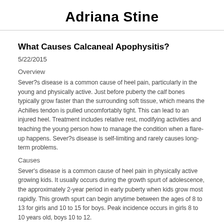Adriana Stine
What Causes Calcaneal Apophysitis?
5/22/2015
Overview
Sever?s disease is a common cause of heel pain, particularly in the young and physically active. Just before puberty the calf bones typically grow faster than the surrounding soft tissue, which means the Achilles tendon is pulled uncomfortably tight. This can lead to an injured heel. Treatment includes relative rest, modifying activities and teaching the young person how to manage the condition when a flare-up happens. Sever?s disease is self-limiting and rarely causes long-term problems.
Causes
Sever's disease is a common cause of heel pain in physically active growing kids. It usually occurs during the growth spurt of adolescence, the approximately 2-year period in early puberty when kids grow most rapidly. This growth spurt can begin anytime between the ages of 8 to 13 for girls and 10 to 15 for boys. Peak incidence occurs in girls 8 to 10 years old, boys 10 to 12.